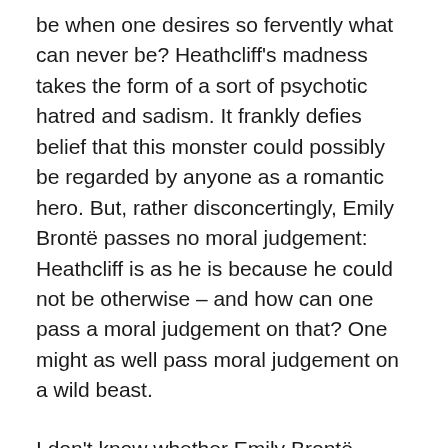be when one desires so fervently what can never be? Heathcliff's madness takes the form of a sort of psychotic hatred and sadism. It frankly defies belief that this monster could possibly be regarded by anyone as a romantic hero. But, rather disconcertingly, Emily Brontë passes no moral judgement: Heathcliff is as he is because he could not be otherwise – and how can one pass a moral judgement on that? One might as well pass moral judgement on a wild beast.
I don't know whether Emily Brontë endorses the Romantic ethos she depicts in this book. It is of little matter anyway. What we do get is a vivid depiction of a favourite theme of the Romantics – madness: here, we straddle that vague borderline between sanity and insanity. It may not always be a pleasurable experience, but it hits you with a force that pushes past the anywhere youchildlessly. And it